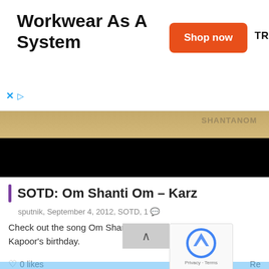[Figure (infographic): Advertisement banner for Truewerk workwear. Large bold text reading 'Workwear As A System', an orange 'Shop now' button, and the 'TRUEWERK' brand name in bold.]
[Figure (screenshot): A partially visible video thumbnail showing a golden/beige top bar with obscured text overlay, and a black video player area below.]
SOTD: Om Shanti Om – Karz
sputnik, September 4, 2012, SOTD, 1 💬
Check out the song Om Shanti Om from Karz on Rishi Kapoor's birthday.
♡ 0 likes
[Figure (other): reCAPTCHA widget with spinning logo and 'Privacy - Terms' text]